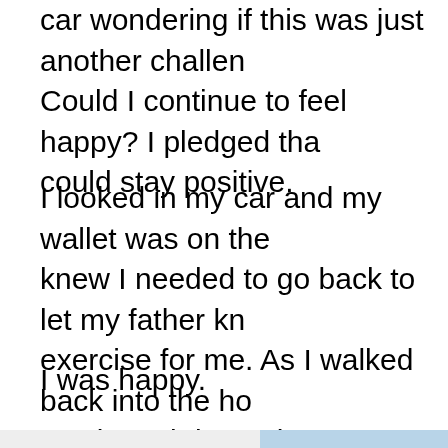car wondering if this was just another challen... Could I continue to feel happy? I pledged tha... could stay positive.
I looked in my car and my wallet was on the... knew I needed to go back to let my father kn... exercise for me. As I walked back into the ho... music and danced.
I was happy.
[Figure (photo): A young child with wet/messy dark hair at a beach, wearing a blue and green sleeveless shirt. Buildings visible in background.]